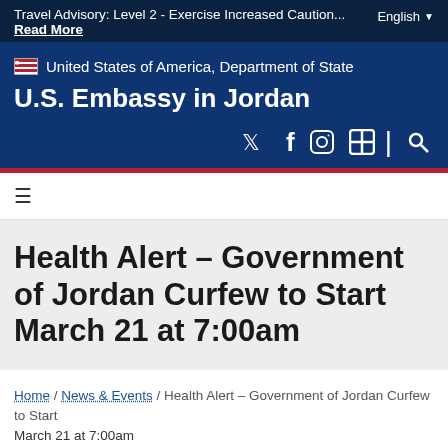Travel Advisory: Level 2 - Exercise Increased Caution... Read More  English
[Figure (screenshot): U.S. Department of State logo placeholder image]
United States of America, Department of State
U.S. Embassy in Jordan
[Figure (other): Social media icons: Twitter, Facebook, Instagram, plus sign, separator, search]
Health Alert – Government of Jordan Curfew to Start March 21 at 7:00am
Home / News & Events / Health Alert – Government of Jordan Curfew to Start March 21 at 7:00am